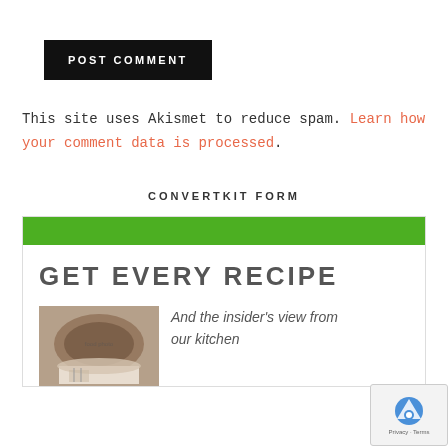POST COMMENT
This site uses Akismet to reduce spam. Learn how your comment data is processed.
CONVERTKIT FORM
[Figure (screenshot): ConvertKit signup form with green header bar, title 'GET EVERY RECIPE', food photo, and text 'And the insider's view from our kitchen']